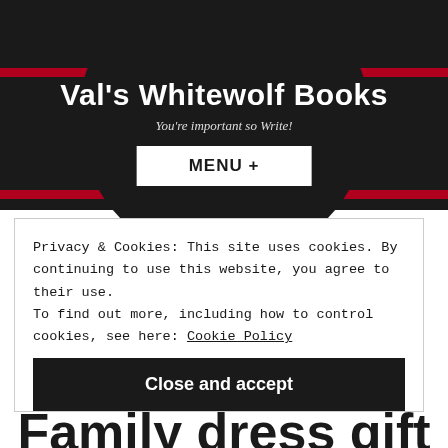Val's Whitewolf Books
You're important so Write!
MENU +
Privacy & Cookies: This site uses cookies. By continuing to use this website, you agree to their use. To find out more, including how to control cookies, see here: Cookie Policy
Close and accept
Family dress gift